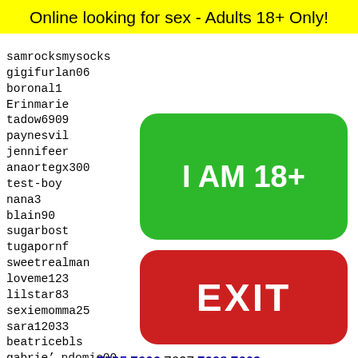Online looking for sex - Adults 18+ Only!
samrocksmysocks
gigifurlan06
boronal1
Erinmarie
tadow6909
paynesvil
jennifeer
anaortegx300
test-boy
nana3
blain90
sugarbost
tugapornf
sweetrealman
loveme123
lilstar83
sexiemomma25
sara12033
beatricebls
gabrie...ndomie00
Creamp
palpat
pahrum
redbon
miljko
maiden
[Figure (other): Green button labeled I AM 18+]
[Figure (other): Red button labeled EXIT]
7605 7606 7607 7608 7609
[Figure (illustration): Yellow rounded rectangle with black dots pattern and emoji/frog face at bottom]